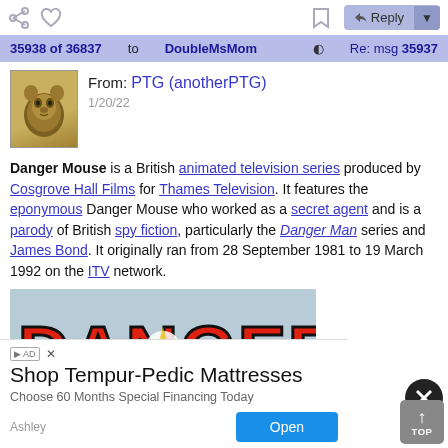35938 of 36837 to DoubleMsMom  Re: msg 35937
From: PTG (anotherPTG)
1/20/22
Danger Mouse is a British animated television series produced by Cosgrove Hall Films for Thames Television. It features the eponymous Danger Mouse who worked as a secret agent and is a parody of British spy fiction, particularly the Danger Man series and James Bond. It originally ran from 28 September 1981 to 19 March 1992 on the ITV network.
[Figure (photo): Image showing the Danger Mouse logo/title card in large red stylized letters]
Shop Tempur-Pedic Mattresses
Choose 60 Months Special Financing Today
Ashley  Open